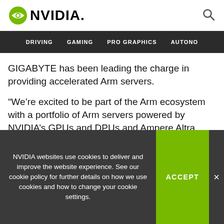NVIDIA. (logo with search icon)
DRIVING   GAMING   PRO GRAPHICS   AUTONO
GIGABYTE has been leading the charge in providing accelerated Arm servers.
“We’re excited to be part of the Arm ecosystem with a portfolio of Arm servers powered by NVIDIA’s GPUs and DPUs and Ampere Altra CPUs,” said Etay Lee, CEO of GIGABYTE.
“We’re committed to working with NVIDIA to grow the
NVIDIA websites use cookies to deliver and improve the website experience. See our cookie policy for further details on how we use cookies and how to change your cookie settings.
ACCEPT
×